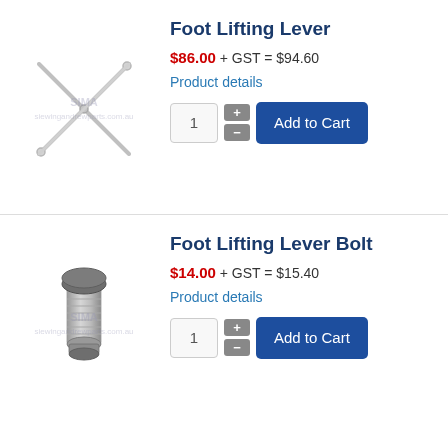[Figure (photo): Foot Lifting Lever - a thin metal rod/lever with a cross shape, shown diagonally with a watermark overlay]
Foot Lifting Lever
$86.00 + GST = $94.60
Product details
1  +  -  Add to Cart
[Figure (photo): Foot Lifting Lever Bolt - a metallic bolt/screw with threaded end and hex head, shown with watermark overlay]
Foot Lifting Lever Bolt
$14.00 + GST = $15.40
Product details
1  +  -  Add to Cart